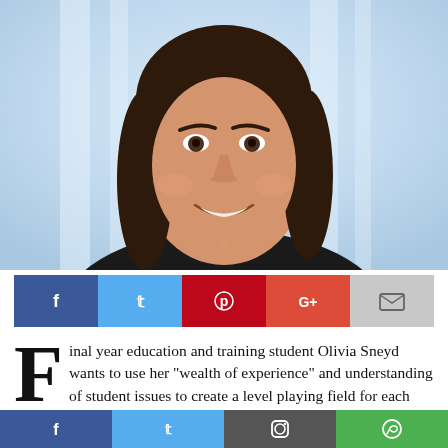[Figure (photo): Professional headshot of Olivia Sneyd, a young woman with long dark brown hair, wearing a black blazer, smiling at the camera against a blurred light blue office background]
[Figure (infographic): Social media share bar with Facebook (blue), Twitter (light blue), Pinterest (red), Google+ (orange-red), and Email (grey) buttons]
Final year education and training student Olivia Sneyd wants to use her “wealth of experience” and understanding of student issues to create a level playing field for each and every DCU student as VP
[Figure (infographic): Bottom social media bar with Facebook (blue), Twitter (light blue), Instagram (dark grey), and WhatsApp (green) buttons]